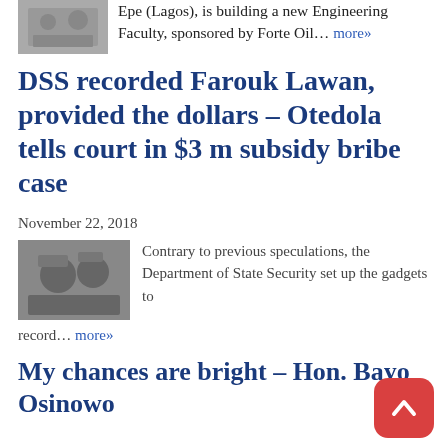Epe (Lagos), is building a new Engineering Faculty, sponsored by Forte Oil... more»
DSS recorded Farouk Lawan, provided the dollars – Otedola tells court in $3 m subsidy bribe case
November 22, 2018
Contrary to previous speculations, the Department of State Security set up the gadgets to record... more»
My chances are bright – Hon. Bayo Osinowo